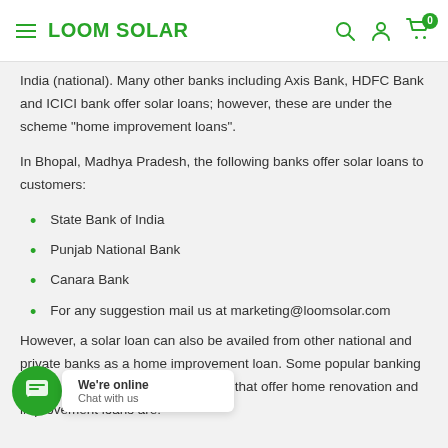LOOM SOLAR
India (national). Many other banks including Axis Bank, HDFC Bank and ICICI bank offer solar loans; however, these are under the scheme “home improvement loans”.
In Bhopal, Madhya Pradesh, the following banks offer solar loans to customers:
State Bank of India
Punjab National Bank
Canara Bank
For any suggestion mail us at marketing@loomsolar.com
However, a solar loan can also be availed from other national and private banks as a home improvement loan. Some popular banking and non-banking financial institutes that offer home renovation and improvement loans are: